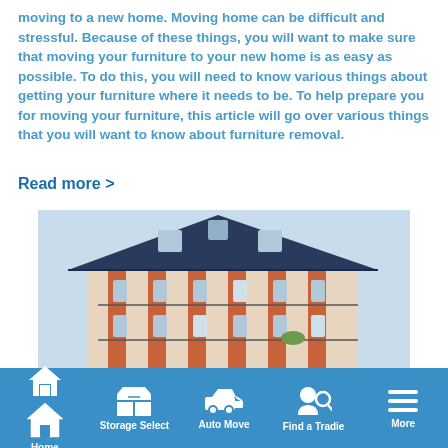moving to a new home. Moving home can be difficult and stressful. Because of these things, you will want to make sure that moving your furniture to your new home is as easy as possible. To do this, you will need to know various things about getting your furniture where it needs to be. To help prepare you for moving your furniture, this article will go over various things that you will want to know about furniture removal.
Read more >
[Figure (photo): Photo of a multi-story European-style apartment building with orange/terracotta brick facade, ornate balconies with iron railings, mansard roof with dark slate tiles, against a light blue sky.]
Home | Storage Select | Auto Move | Find a Tradie | More